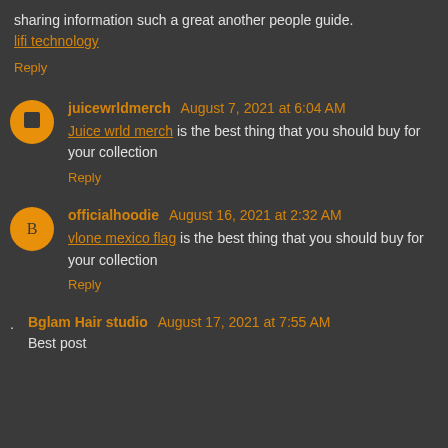sharing information such a great another people guide.
lifi technology
Reply
juicewrldmerch August 7, 2021 at 6:04 AM
Juice wrld merch is the best thing that you should buy for your collection
Reply
officialhoodie August 16, 2021 at 2:32 AM
vlone mexico flag is the best thing that you should buy for your collection
Reply
Bglam Hair studio August 17, 2021 at 7:55 AM
Best post